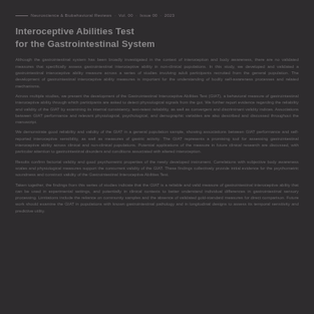Neuroscience & Biobehavioral Reviews
Interoceptive Abilities Test
Although the gastrointestinal system has been broadly investigated in the context of interoception and body awareness, there are no validated measures that specifically assess gastrointestinal interoceptive ability in non-clinical populations. In this study, we developed and validated a gastrointestinal interoceptive ability measure.
Across multiple studies, we present the development of the Gastrointestinal Interoceptive Abilities Test (GIAT), a behavioral measure of gastrointestinal interoceptive ability through which participants are asked to detect physiological signals from the gut.
We demonstrate good reliability and validity of the GIAT in a general population sample, showing associations between GIAT performance and self-reported interoceptive sensibility.